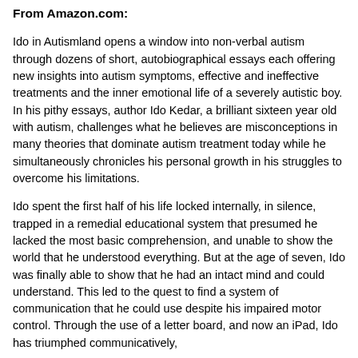From Amazon.com:
Ido in Autismland opens a window into non-verbal autism through dozens of short, autobiographical essays each offering new insights into autism symptoms, effective and ineffective treatments and the inner emotional life of a severely autistic boy. In his pithy essays, author Ido Kedar, a brilliant sixteen year old with autism, challenges what he believes are misconceptions in many theories that dominate autism treatment today while he simultaneously chronicles his personal growth in his struggles to overcome his limitations.
Ido spent the first half of his life locked internally, in silence, trapped in a remedial educational system that presumed he lacked the most basic comprehension, and unable to show the world that he understood everything. But at the age of seven, Ido was finally able to show that he had an intact mind and could understand. This led to the quest to find a system of communication that he could use despite his impaired motor control. Through the use of a letter board, and now an iPad, Ido has triumphed communicatively,